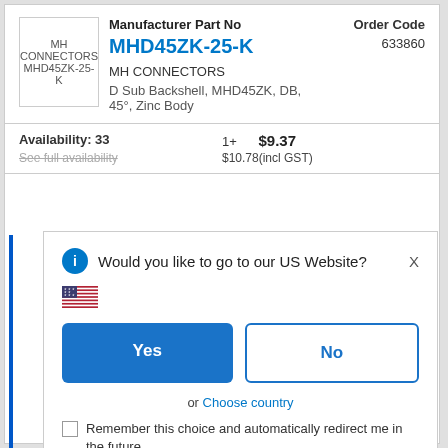[Figure (photo): MH CONNECTORS MHD45ZK-25-K product image placeholder]
Manufacturer Part No
MHD45ZK-25-K
Order Code 633860
MH CONNECTORS
D Sub Backshell, MHD45ZK, DB, 45°, Zinc Body
Availability: 33
1+  $9.37  $10.78(incl GST)
See full availability
Would you like to go to our US Website?
X
Yes
No
or  Choose country
Remember this choice and automatically redirect me in the future